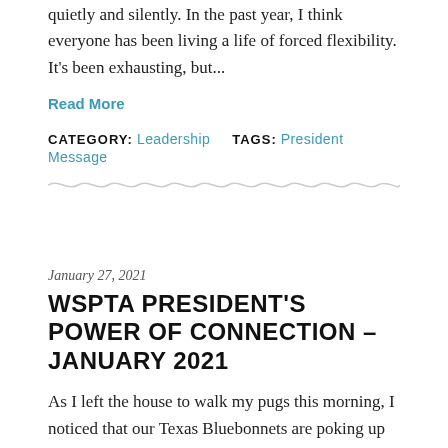quietly and silently. In the past year, I think everyone has been living a life of forced flexibility. It's been exhausting, but...
Read More
CATEGORY: Leadership   TAGS: President Message
January 27, 2021
WSPTA PRESIDENT'S POWER OF CONNECTION – JANUARY 2021
As I left the house to walk my pugs this morning, I noticed that our Texas Bluebonnets are poking up through the soil. It seems early, but it was a welcome sight that made me smile. Those bulbs were given to me by a